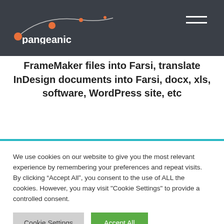pangeanic
FrameMaker files into Farsi, translate InDesign documents into Farsi, docx, xls, software, WordPress site, etc
We use cookies on our website to give you the most relevant experience by remembering your preferences and repeat visits. By clicking “Accept All”, you consent to the use of ALL the cookies. However, you may visit "Cookie Settings" to provide a controlled consent.